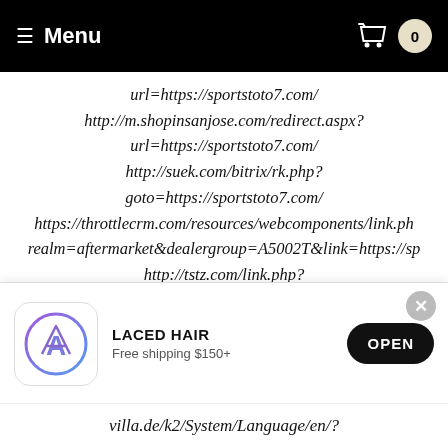≡ Menu  0
url=https://sportstoto7.com/
http://m.shopinsanjose.com/redirect.aspx?
url=https://sportstoto7.com/
http://suek.com/bitrix/rk.php?
goto=https://sportstoto7.com/
https://throttlecrm.com/resources/webcomponents/link.ph...
realm=aftermarket&dealergroup=A5002T&link=https://sp...
http://tstz.com/link.php?
url=https://sportstoto7.com/
https://www.turnerdrake.com/blog/ct.ashx?
id=3791bd86-2a35-4466-92ac-
551acb587cea&url=https://sportstoto7.com/
[Figure (screenshot): App install banner for 'LACED HAIR' with App Store icon, subtitle 'Free shipping $150+', and OPEN button]
villa.de/k2/System/Language/en/?